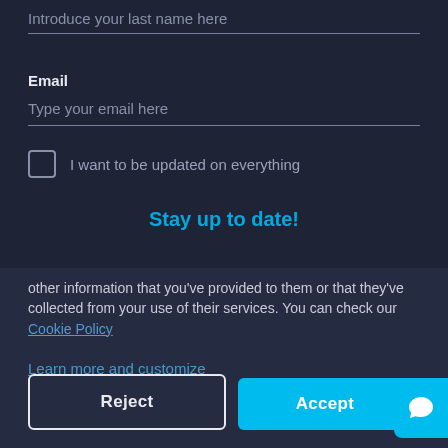Introduce your last name here
Email
Type your email here
I want to be updated on everything
Stay up to date!
other information that you've provided to them or that they've collected from your use of their services. You can check our Cookie Policy
Learn more and customize
Reject
Accept